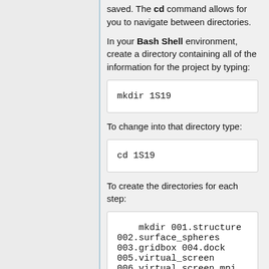saved. The cd command allows for you to navigate between directories.
In your Bash Shell environment, create a directory containing all of the information for the project by typing:
mkdir 1S19
To change into that directory type:
cd 1S19
To create the directories for each step:
mkdir 001.structure 002.surface_spheres 003.gridbox 004.dock 005.virtual_screen 006.virtual_screen_mpi 007.cartesianmin